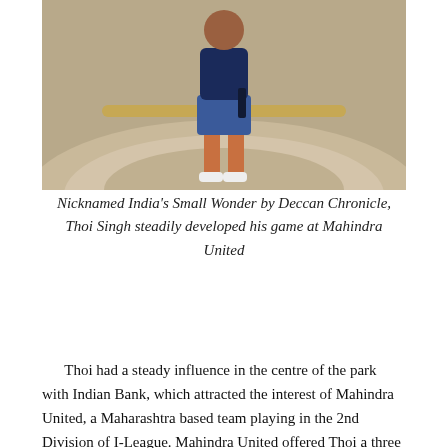[Figure (photo): A person standing in front of stone steps or a monument, wearing a dark blue top, blue jeans shorts, and white shoes.]
Nicknamed India's Small Wonder by Deccan Chronicle, Thoi Singh steadily developed his game at Mahindra United
Thoi had a steady influence in the centre of the park with Indian Bank, which attracted the interest of Mahindra United, a Maharashtra based team playing in the 2nd Division of I-League. Mahindra United offered Thoi a three years contract. The offer proved to enticing to turn down